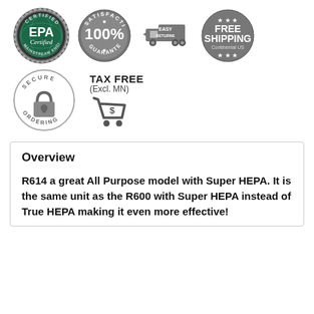[Figure (logo): Row of trust/certification badges: EPA Certified badge (green/teal), 100% Satisfaction Guaranteed badge (gray), Easy Returns badge with truck icon (gray), Free Shipping Continental US badge (gray)]
[Figure (logo): Secure Ordering badge (gray circle with padlock), Tax Free (Excl. MN) with shopping cart icon]
Overview
R614 a great All Purpose model with Super HEPA. It is the same unit as the R600 with Super HEPA instead of True HEPA making it even more effective!